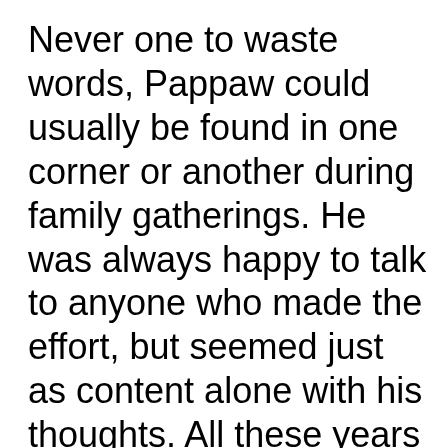Never one to waste words, Pappaw could usually be found in one corner or another during family gatherings. He was always happy to talk to anyone who made the effort, but seemed just as content alone with his thoughts. All these years later I wish I would have asked him more about those thoughts. I would have liked to understand how that great mind worked. As it